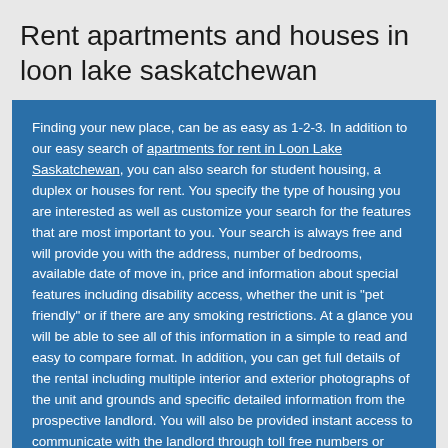Rent apartments and houses in loon lake saskatchewan
Finding your new place, can be as easy as 1-2-3. In addition to our easy search of apartments for rent in Loon Lake Saskatchewan, you can also search for student housing, a duplex or houses for rent. You specify the type of housing you are interested as well as customize your search for the features that are most important to you. Your search is always free and will provide you with the address, number of bedrooms, available date of move in, price and information about special features including disability access, whether the unit is "pet friendly" or if there are any smoking restrictions. At a glance you will be able to see all of this information in a simple to read and easy to compare format. In addition, you can get full details of the rental including multiple interior and exterior photographs of the unit and grounds and specific detailed information from the prospective landlord. You will also be provided instant access to communicate with the landlord through toll free numbers or email addresses.